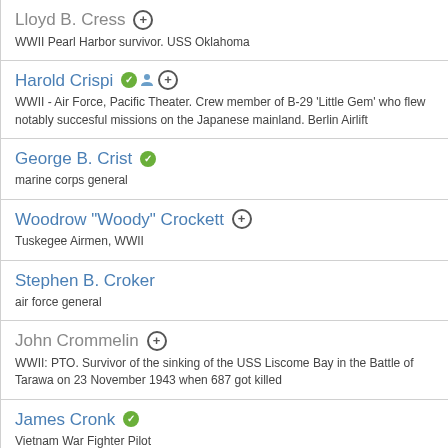Lloyd B. Cress
WWII Pearl Harbor survivor. USS Oklahoma
Harold Crispi
WWII - Air Force, Pacific Theater. Crew member of B-29 'Little Gem' who flew notably succesful missions on the Japanese mainland. Berlin Airlift
George B. Crist
marine corps general
Woodrow "Woody" Crockett
Tuskegee Airmen, WWII
Stephen B. Croker
air force general
John Crommelin
WWII: PTO. Survivor of the sinking of the USS Liscome Bay in the Battle of Tarawa on 23 November 1943 when 687 got killed
James Cronk
Vietnam War Fighter Pilot
Neal Richard 'Dick' Cronkite
WWII Veteran, flew with the PBM Mariners